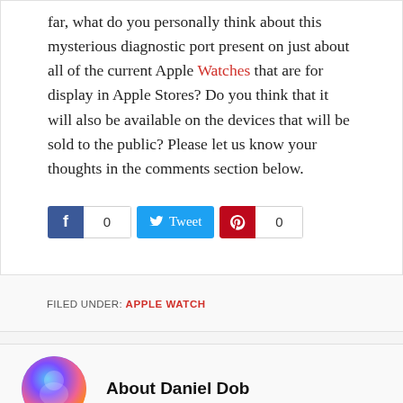far, what do you personally think about this mysterious diagnostic port present on just about all of the current Apple Watches that are for display in Apple Stores? Do you think that it will also be available on the devices that will be sold to the public? Please let us know your thoughts in the comments section below.
[Figure (other): Social sharing buttons: Facebook (count 0), Tweet, Pinterest (count 0)]
FILED UNDER: APPLE WATCH
About Daniel Dob